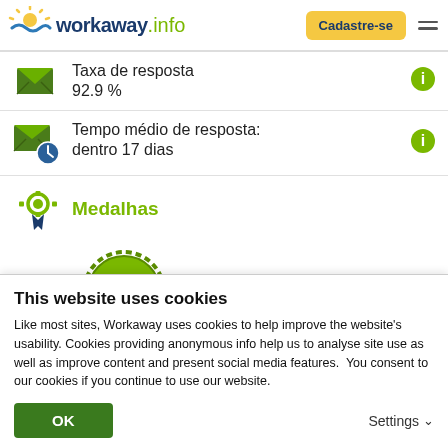[Figure (logo): Workaway.info logo with sun icon, blue and green colors]
Cadastre-se
Taxa de resposta
92.9 %
Tempo médio de resposta:
dentro 17 dias
Medalhas
[Figure (illustration): Green medal/badge icon with map and location pins]
This website uses cookies
Like most sites, Workaway uses cookies to help improve the website's usability. Cookies providing anonymous info help us to analyse site use as well as improve content and present social media features.  You consent to our cookies if you continue to use our website.
OK
Settings